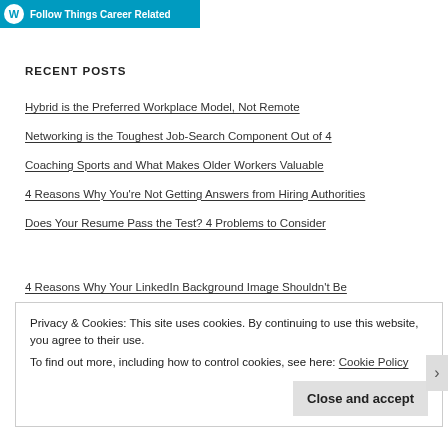[Figure (other): WordPress Follow button: teal/cyan background with WordPress logo icon and text 'Follow Things Career Related']
RECENT POSTS
Hybrid is the Preferred Workplace Model, Not Remote
Networking is the Toughest Job-Search Component Out of 4
Coaching Sports and What Makes Older Workers Valuable
4 Reasons Why You’re Not Getting Answers from Hiring Authorities
Does Your Resume Pass the Test? 4 Problems to Consider
4 Reasons Why Your LinkedIn Background Image Shouldn’t Be
Privacy & Cookies: This site uses cookies. By continuing to use this website, you agree to their use.
To find out more, including how to control cookies, see here: Cookie Policy
Close and accept